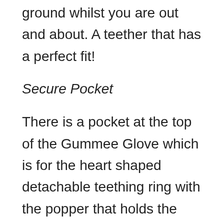ground whilst you are out and about. A teether that has a perfect fit!
Secure Pocket
There is a pocket at the top of the Gummee Glove which is for the heart shaped detachable teething ring with the popper that holds the teething ring securely in place. This is good once the baby has been introduced to the glove and is comfortable with its use, it can either be used with the glove or separately as baby learns how to